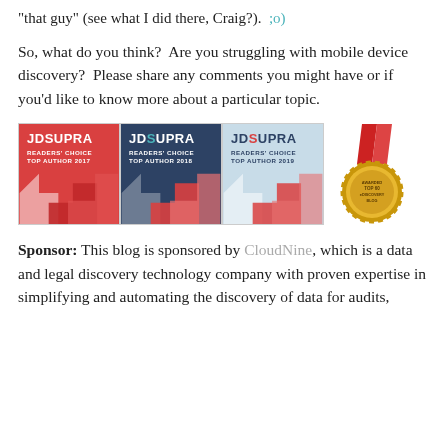“that guy” (see what I did there, Craig?).  ;o)
So, what do you think?  Are you struggling with mobile device discovery?  Please share any comments you might have or if you’d like to know more about a particular topic.
[Figure (logo): Four badges: JD Supra Readers' Choice Top Author 2017 (red), JD Supra Readers' Choice Top Author 2018 (navy), JD Supra Readers' Choice Top Author 2019 (light blue), and a gold medal award for Top 60 eDiscovery Blog.]
Sponsor: This blog is sponsored by CloudNine, which is a data and legal discovery technology company with proven expertise in simplifying and automating the discovery of data for audits,